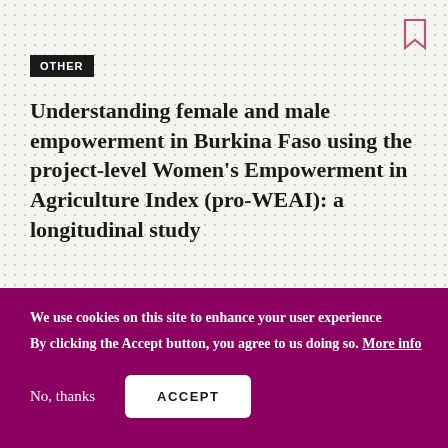OTHER
Understanding female and male empowerment in Burkina Faso using the project-level Women’s Empowerment in Agriculture Index (pro-WEAI): a longitudinal study
We use cookies on this site to enhance your user experience
By clicking the Accept button, you agree to us doing so. More info
No, thanks
ACCEPT